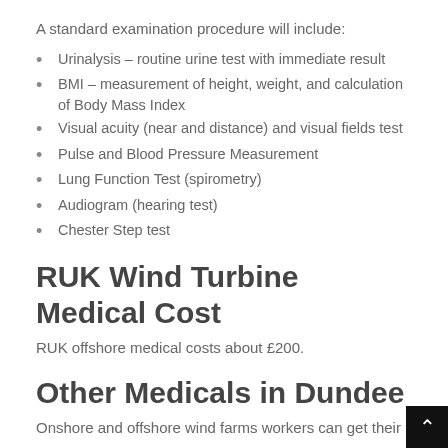A standard examination procedure will include:
Urinalysis – routine urine test with immediate result
BMI – measurement of height, weight, and calculation of Body Mass Index
Visual acuity (near and distance) and visual fields test
Pulse and Blood Pressure Measurement
Lung Function Test (spirometry)
Audiogram (hearing test)
Chester Step test
RUK Wind Turbine Medical Cost
RUK offshore medical costs about £200.
Other Medicals in Dundee
Onshore and offshore wind farms workers can get their